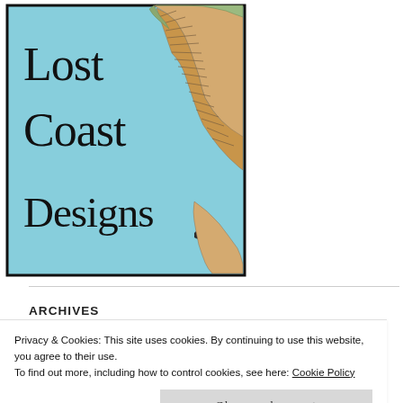[Figure (logo): Lost Coast Designs logo: rectangular illustration with light blue background showing text 'Lost Coast Designs' in decorative black serif font, with a stylized coastal map illustration on the right side showing land masses in tans, oranges, and greens with crosshatching detail. Black border around the rectangle.]
ARCHIVES
Privacy & Cookies: This site uses cookies. By continuing to use this website, you agree to their use.
To find out more, including how to control cookies, see here: Cookie Policy
Close and accept